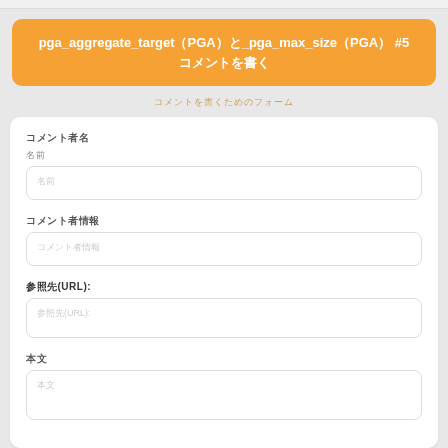pga_aggregate_target（PGA）と_pga_max_size（PGA） #5 コメントを書く
コメントを書くためのフォーム
コメント者名
名前
コメント者情報
コメント者情報
参照先(URL):
参照先(URL):
本文
本文